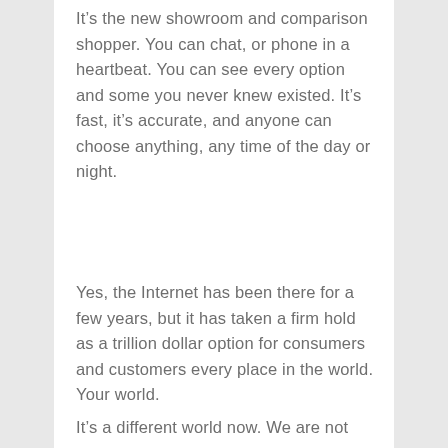It's the new showroom and comparison shopper. You can chat, or phone in a heartbeat. You can see every option and some you never knew existed. It's fast, it's accurate, and anyone can choose anything, any time of the day or night.
Yes, the Internet has been there for a few years, but it has taken a firm hold as a trillion dollar option for consumers and customers every place in the world. Your world.
It's a different world now. We are not